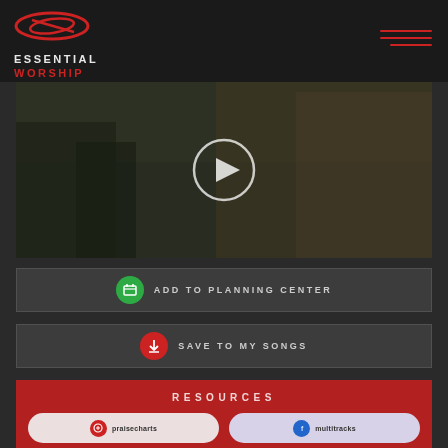[Figure (logo): Essential Worship logo with red oval swoosh graphic and two-line text: ESSENTIAL in light color, WORSHIP in red]
[Figure (photo): Woman in yellow top outdoors with arms spread, dark overlay with play button circle in center]
ADD TO PLANNING CENTER
SAVE TO MY SONGS
RESOURCES
[Figure (screenshot): Two partially visible resource buttons at bottom of red resources section]